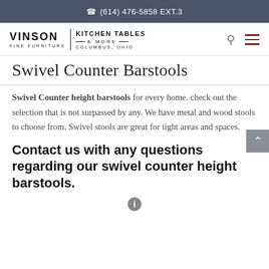(614) 476-5858 EXT.3
[Figure (logo): Vinson Fine Furniture | Kitchen Tables & More Columbus, Ohio logo]
Swivel Counter Barstools
Swivel Counter height barstools for every home. check out the selection that is not surpassed by any. We have metal and wood stools to choose from. Swivel stools are great for tight areas and spaces.
Contact us with any questions regarding our swivel counter height barstools.